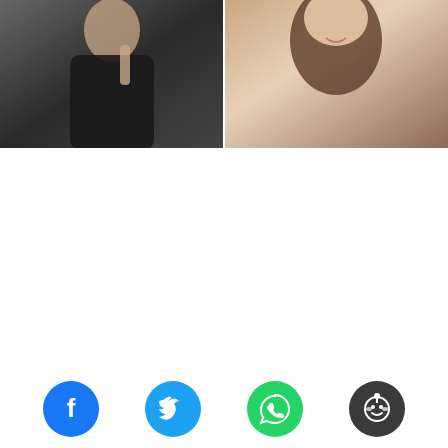[Figure (photo): Two celebrity photos side by side: left shows a man in a black leather jacket with his hand raised near his chin against a grey background; right shows a woman with long dark wavy hair smiling against a warm background.]
Kartik Aaryan had recently tested positive for
[Figure (infographic): Social sharing buttons row: Facebook (blue circle with f icon), Twitter (cyan circle with bird icon), WhatsApp (green circle with phone icon), Reddit (dark grey circle with alien icon).]